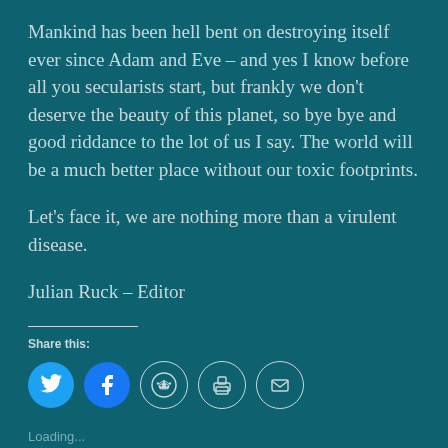Mankind has been hell bent on destroying itself ever since Adam and Eve – and yes I know before all you secularists start, but frankly we don't deserve the beauty of this planet, so bye bye and good riddance to the lot of us I say. The world will be a much better place without our toxic footprints.
Let's face it, we are nothing more than a virulent disease.
Julian Ruck – Editor
Share this:
[Figure (infographic): Row of five social share icon buttons: Twitter (blue filled circle with bird), Facebook (blue filled circle with f), Reddit (outlined circle with alien mascot), Print (outlined circle with printer), Email (outlined circle with envelope)]
Loading...